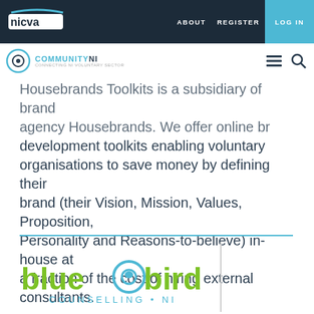nicva | ABOUT REGISTER LOG IN
Housebrands Toolkits is a subsidiary of brand agency Housebrands. We offer online brand development toolkits enabling voluntary organisations to save money by defining their brand (their Vision, Mission, Values, Proposition, Personality and Reasons-to-believe) in-house at a fraction of the cost of hiring external consultants.
[Figure (logo): Bluebird Counselling NI logo — green text reading 'blue@bird' with a stylized bird/eye icon, and subtitle 'COUNSELLING • NI' in teal]